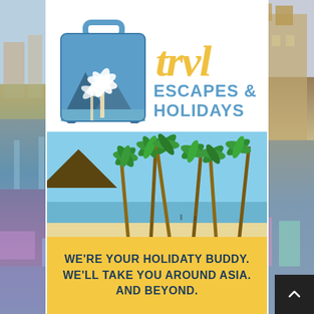[Figure (logo): TRVL Escapes & Holidays logo: blue suitcase with palm tree scene and yellow script 'trvl' text with blue 'ESCAPES & HOLIDAYS' underneath]
[Figure (photo): Tropical beach scene with tall palm trees, thatched hut roofs, white sand, and blue ocean water]
We're your holidaty buddy. We'll take you around Asia. And beyond.